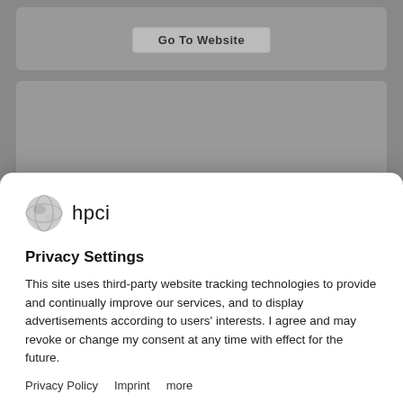[Figure (screenshot): Gray website background with 'Go To Website' button in a card and 'AB Enzymes' text partially visible in another card]
[Figure (logo): hpci logo: globe icon and 'hpci' text]
Privacy Settings
This site uses third-party website tracking technologies to provide and continually improve our services, and to display advertisements according to users' interests. I agree and may revoke or change my consent at any time with effect for the future.
Privacy Policy   Imprint   more
Accept All
Save Services
Powered by Usercentrics Consent Management